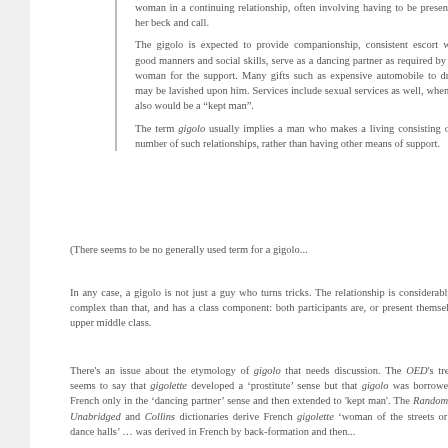woman in a continuing relationship, often involving having to be present at her beck and call.
The gigolo is expected to provide companionship, consistent escort with good manners and social skills, serve as a dancing partner as required by the woman for the support. Many gifts such as expensive automobile to drive may be lavished upon him. Services include sexual services as well, when he also would be a “kept man”.
The term gigolo usually implies a man who makes a living consisting of a number of such relationships, rather than having other means of support.
(There seems to be no generally used term for a gigolo...
In any case, a gigolo is not just a guy who turns tricks. The relationship is considerably more complex than that, and has a strong class component: both participants are, or present themselves as, upper middle class.
There's an issue about the etymology of gigolo that needs discussion. The OED's treatment seems to say that gigolette developed a 'prostitute' sense but that gigolo was borrowed from French only in the 'dancing partner' sense and then extended to 'kept man'. The Random House Unabridged and Collins dictionaries derive French gigolette 'woman of the streets or public dance halls' ... was derived in French by back-formation and then...